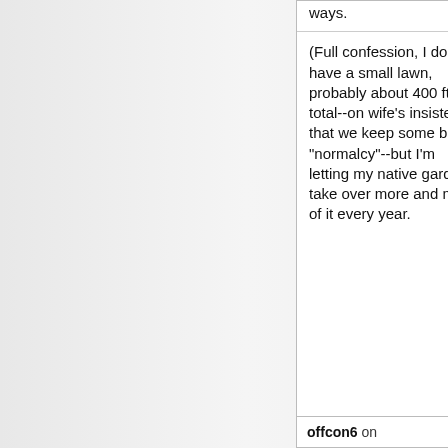ways.
(Full confession, I do have a small lawn, probably about 400 ft ^2 total--on wife's insistence that we keep some bit of "normalcy"--but I'm letting my native garden take over more and more of it every year.
offcon6 on